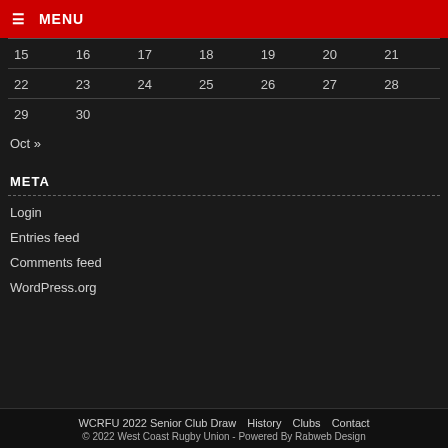☰ MENU
|  |  |  |  |  |  |  |
| --- | --- | --- | --- | --- | --- | --- |
| 15 | 16 | 17 | 18 | 19 | 20 | 21 |
| 22 | 23 | 24 | 25 | 26 | 27 | 28 |
| 29 | 30 |  |  |  |  |  |
Oct »
META
Login
Entries feed
Comments feed
WordPress.org
WCRFU 2022 Senior Club Draw · History · Clubs · Contact · © 2022 West Coast Rugby Union - Powered By Rabweb Design